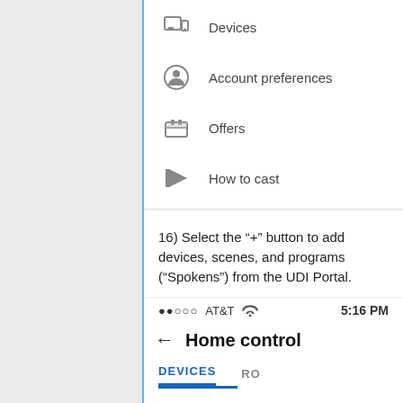[Figure (screenshot): Left gray panel of a mobile app settings menu with a vertical blue divider line on the right edge.]
Devices
Account preferences
Offers
How to cast
16) Select the “+” button to add devices, scenes, and programs (“Spokens”) from the UDI Portal.
[Figure (screenshot): Mobile phone status bar showing signal dots, AT&T carrier, WiFi icon, and 5:16 PM time. Below is a Home control screen header with back arrow and DEVICES tab active.]